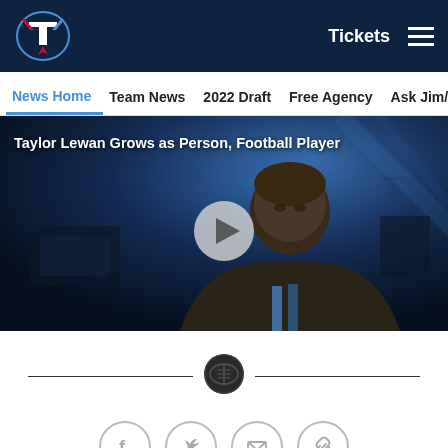Tennessee Titans — Tickets | Navigation: News Home, Team News, 2022 Draft, Free Agency, Ask Jim/Ma
[Figure (screenshot): Video thumbnail showing Taylor Lewan being interviewed, with title 'Taylor Lewan Grows as Person, Football Player' and a play button overlay]
Social share icons: Facebook, Twitter, Email, Link